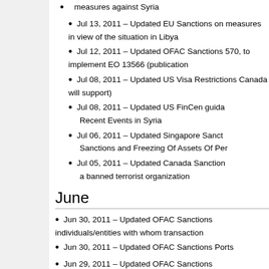measures against Syria
Jul 13, 2011 – Updated EU Sanctions on measures in view of the situation in Libya
Jul 12, 2011 – Updated OFAC Sanctions 570, to implement EO 13566 (publication
Jul 08, 2011 – Updated US Visa Restrictions Canada will support)
Jul 08, 2011 – Updated US FinCen guidance Recent Events in Syria
Jul 06, 2011 – Updated Singapore Sanctions and Freezing Of Assets Of Pe
Jul 05, 2011 – Updated Canada Sanctions a banned terrorist organization
June
Jun 30, 2011 – Updated OFAC Sanctions individuals/entities with whom transactions
Jun 30, 2011 – Updated OFAC Sanctions Ports
Jun 29, 2011 – Updated OFAC Sanctions
Jun 29, 2011 – Updated OFAC Sanctions
Jun 29, 2011 – Updated OFAC Sanctions Regulations Relating to the Former Yugo
Jun 28, 2011 – Updated EU Sanctions on 623/2011
Jun 28, 2011 – Updated UK Sanctions on 623/2011
Jun 27, 2011 – UNSCR Decides to Deploy